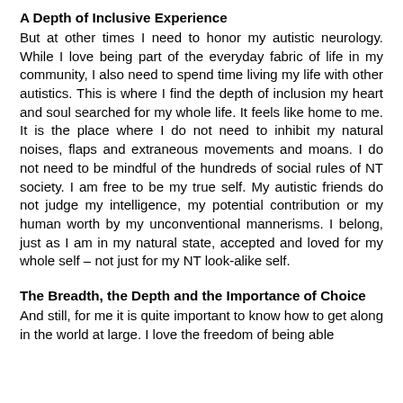A Depth of Inclusive Experience
But at other times I need to honor my autistic neurology. While I love being part of the everyday fabric of life in my community, I also need to spend time living my life with other autistics. This is where I find the depth of inclusion my heart and soul searched for my whole life. It feels like home to me. It is the place where I do not need to inhibit my natural noises, flaps and extraneous movements and moans. I do not need to be mindful of the hundreds of social rules of NT society. I am free to be my true self. My autistic friends do not judge my intelligence, my potential contribution or my human worth by my unconventional mannerisms. I belong, just as I am in my natural state, accepted and loved for my whole self – not just for my NT look-alike self.
The Breadth, the Depth and the Importance of Choice
And still, for me it is quite important to know how to get along in the world at large. I love the freedom of being able